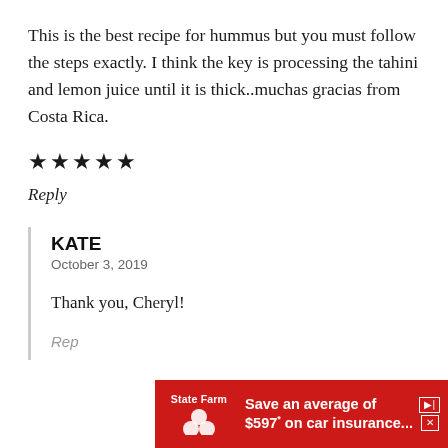This is the best recipe for hummus but you must follow the steps exactly. I think the key is processing the tahini and lemon juice until it is thick..muchas gracias from Costa Rica.
★★★★★
Reply
KATE
October 3, 2019
Thank you, Cheryl!
Rep
[Figure (other): State Farm advertisement banner: 'Save an average of $597* on car insurance...' with State Farm logo on red background]